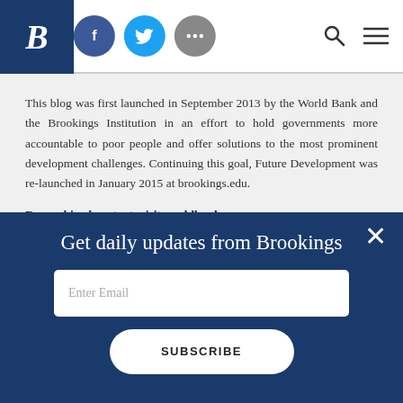Brookings Institution header with logo, social icons (Facebook, Twitter, More), search and menu
This blog was first launched in September 2013 by the World Bank and the Brookings Institution in an effort to hold governments more accountable to poor people and offer solutions to the most prominent development challenges. Continuing this goal, Future Development was re-launched in January 2015 at brookings.edu.
For archived content, visit worldbank.org »
Get daily updates from Brookings
Enter Email
SUBSCRIBE